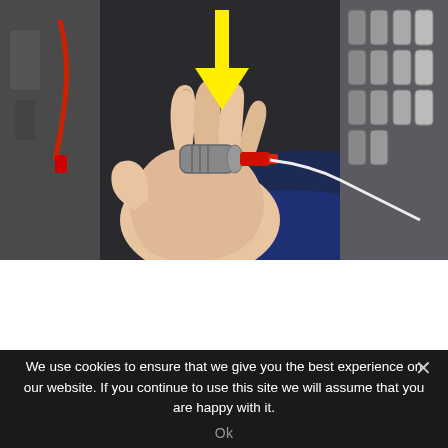[Figure (photo): A hand holding a small cylindrical automotive solenoid or sensor component with a red connector and white wire, in front of an engine or transmission assembly. A yellow arrow points down at the component from above.]
We use cookies to ensure that we give you the best experience on our website. If you continue to use this site we will assume that you are happy with it.
Ok